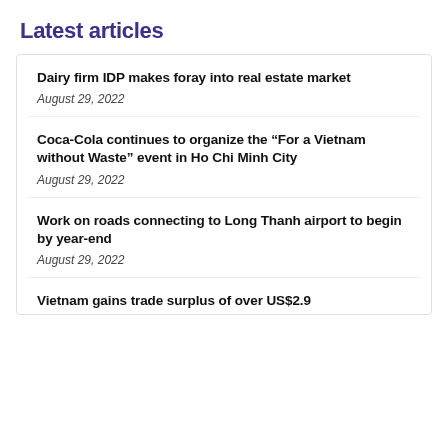Latest articles
Dairy firm IDP makes foray into real estate market
August 29, 2022
Coca-Cola continues to organize the “For a Vietnam without Waste” event in Ho Chi Minh City
August 29, 2022
Work on roads connecting to Long Thanh airport to begin by year-end
August 29, 2022
Vietnam gains trade surplus of over US$2.9